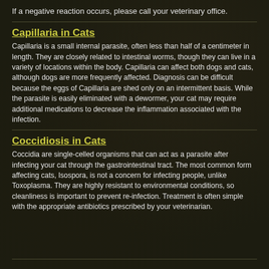If a negative reaction occurs, please call your veterinary office.
Capillaria in Cats
Capillaria is a small internal parasite, often less than half of a centimeter in length. They are closely related to intestinal worms, though they can live in a variety of locations within the body. Capillaria can affect both dogs and cats, although dogs are more frequently affected. Diagnosis can be difficult because the eggs of Capillaria are shed only on an intermittent basis. While the parasite is easily eliminated with a dewormer, your cat may require additional medications to decrease the inflammation associated with the infection.
Coccidiosis in Cats
Coccidia are single-celled organisms that can act as a parasite after infecting your cat through the gastrointestinal tract. The most common form affecting cats, Isospora, is not a concern for infecting people, unlike Toxoplasma. They are highly resistant to environmental conditions, so cleanliness is important to prevent re-infection. Treatment is often simple with the appropriate antibiotics prescribed by your veterinarian.